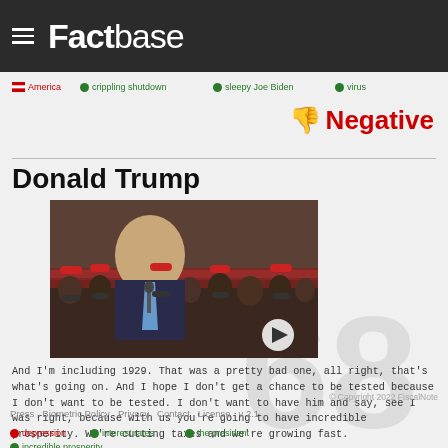Factbase
...post. The rates, in 1521, the Biden deserted percent last after you no longer have a massive tax percent-last after you no longer have a massive to, interest rates, go through depression; the likes of which this country has never seen before.
America
crippling shutdown
sleepy Joe Biden
virus
Negative
Donald Trump
[Figure (photo): Video thumbnail showing Donald Trump speaking at a rally with crowd behind him wearing red hats and masks]
And I'm including 1929. That was a pretty bad one, all right, that's what's going on. And I hope I don't get a chance to be tested because I don't want to be tested. I don't want to have him and say, see I was right, because with us you're going to have incredible prosperity. We're cutting taxes and we're growing fast.
depression
interest rates
the president
incredible prosperity
Press  Biometric Policy  Privacy  Contact  License  v 2.1  © Copyright 2022 FiscalNote